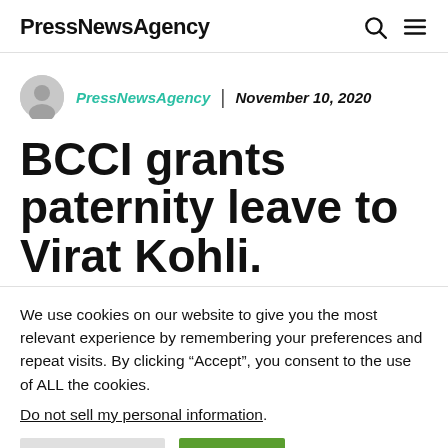PressNewsAgency
PressNewsAgency | November 10, 2020
BCCI grants paternity leave to Virat Kohli.
We use cookies on our website to give you the most relevant experience by remembering your preferences and repeat visits. By clicking “Accept”, you consent to the use of ALL the cookies.
Do not sell my personal information.
Cookie Settings | Accept